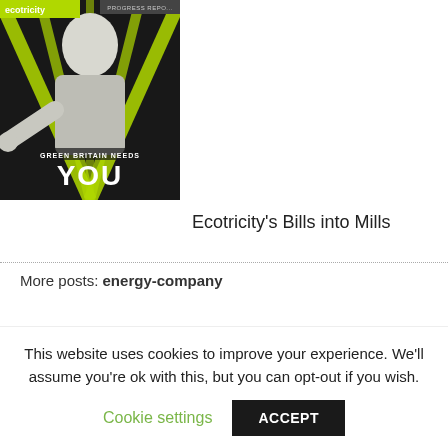[Figure (photo): Ecotricity promotional image with a person pointing at the viewer, with the text 'GREEN BRITAIN NEEDS YOU' in bold, and the Ecotricity logo at top left on a green and black background.]
Ecotricity's Bills into Mills
More posts: energy-company
This website has been developed by Tessa Shepperson of Landlord Law Services Ltd.
A company registered in England & Wales number 08153069.
This website uses cookies to improve your experience. We'll assume you're ok with this, but you can opt-out if you wish.